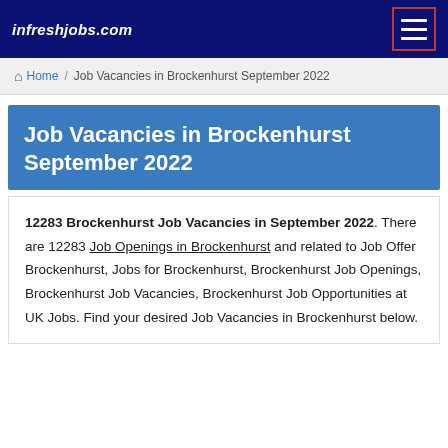infreshjobs.com
Home / Job Vacancies in Brockenhurst September 2022
Job Vacancies in Brockenhurst September 2022
12283 Brockenhurst Job Vacancies in September 2022. There are 12283 Job Openings in Brockenhurst and related to Job Offer Brockenhurst, Jobs for Brockenhurst, Brockenhurst Job Openings, Brockenhurst Job Vacancies, Brockenhurst Job Opportunities at UK Jobs. Find your desired Job Vacancies in Brockenhurst below.